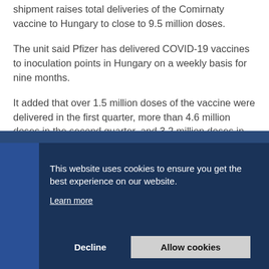shipment raises total deliveries of the Comirnaty vaccine to Hungary to close to 9.5 million doses.
The unit said Pfizer has delivered COVID-19 vaccines to inoculation points in Hungary on a weekly basis for nine months.
It added that over 1.5 million doses of the vaccine were delivered in the first quarter, more than 4.6 million doses in the second quarter, and 3.2 million doses in the third quarter.
[Figure (photo): Dark blue background with a partial image visible at the bottom of the page, partially obscured by a cookie consent overlay panel.]
This website uses cookies to ensure you get the best experience on our website.
Learn more
Decline
Allow cookies